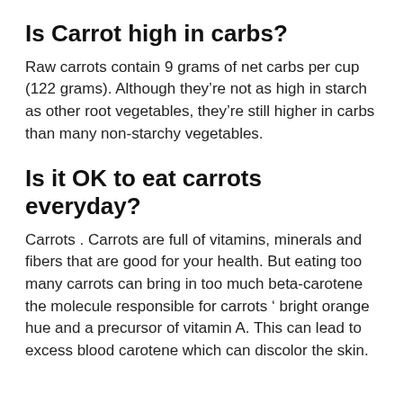Is Carrot high in carbs?
Raw carrots contain 9 grams of net carbs per cup (122 grams). Although they’re not as high in starch as other root vegetables, they’re still higher in carbs than many non-starchy vegetables.
Is it OK to eat carrots everyday?
Carrots . Carrots are full of vitamins, minerals and fibers that are good for your health. But eating too many carrots can bring in too much beta-carotene the molecule responsible for carrots ’ bright orange hue and a precursor of vitamin A. This can lead to excess blood carotene which can discolor the skin.